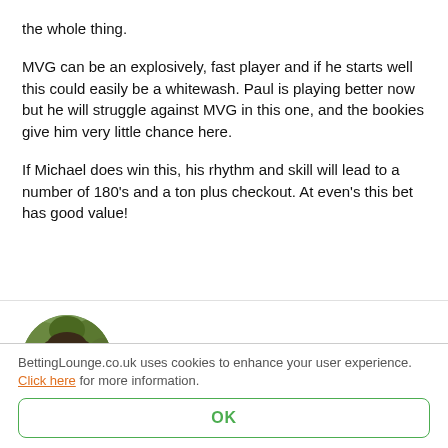the whole thing.
MVG can be an explosively, fast player and if he starts well this could easily be a whitewash. Paul is playing better now but he will struggle against MVG in this one, and the bookies give him very little chance here.
If Michael does win this, his rhythm and skill will lead to a number of 180's and a ton plus checkout. At even's this bet has good value!
[Figure (photo): Circular avatar photo of Steven Hubbard, a man in a black shirt against a green leafy background]
STEVEN HUBBARD
BettingLounge.co.uk uses cookies to enhance your user experience. Click here for more information.
OK